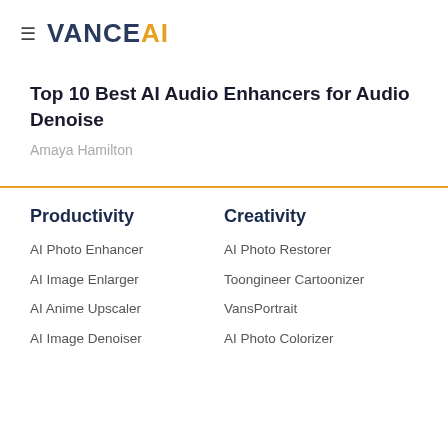≡ VANCE AI
Top 10 Best AI Audio Enhancers for Audio Denoise
Amaya Hamilton
Productivity
Creativity
AI Photo Enhancer
AI Photo Restorer
AI Image Enlarger
Toongineer Cartoonizer
AI Anime Upscaler
VansPortrait
AI Image Denoiser
AI Photo Colorizer